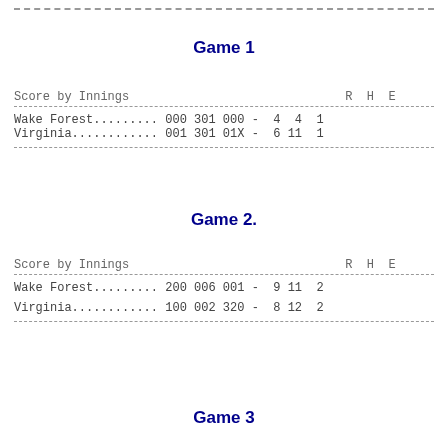| Score by Innings | R | H | E |
| --- | --- | --- | --- |
| Wake Forest......... 000 301 000 - | 4 | 4 | 1 |
| Virginia............ 001 301 01X - | 6 | 11 | 1 |
| Score by Innings | R | H | E |
| --- | --- | --- | --- |
| Wake Forest......... 200 006 001 - | 9 | 11 | 2 |
| Virginia............ 100 002 320 - | 8 | 12 | 2 |
Game 3